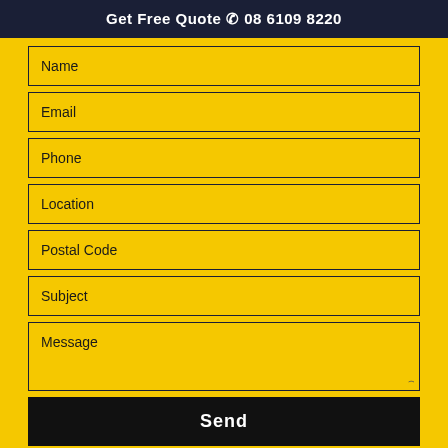Get Free Quote ☎ 08 6109 8220
Name
Email
Phone
Location
Postal Code
Subject
Message
Send